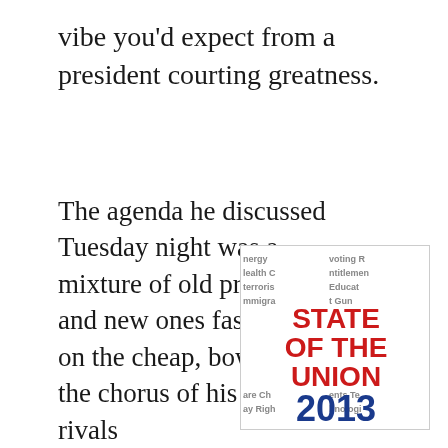vibe you'd expect from a president courting greatness.
The agenda he discussed Tuesday night was a mixture of old proposals and new ones fashioned on the cheap, bowing to the chorus of his GOP rivals
[Figure (logo): State of the Union 2013 logo with word cloud background featuring topics like energy, voting rights, health care, entitlements, terrorism, education, immigration, gun control, child, technology. Main text reads STATE OF THE UNION 2013 in red and blue bold letters.]